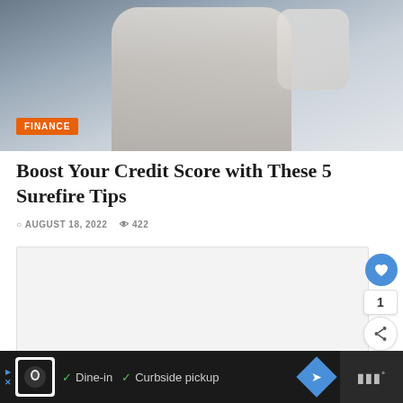[Figure (photo): Hero image of a person in white top holding a card/phone, with orange FINANCE badge overlay]
Boost Your Credit Score with These 5 Surefire Tips
AUGUST 18, 2022  422
[Figure (screenshot): Large light gray content/ad placeholder area]
Dine-in  Curbside pickup  [ad bar with logos]